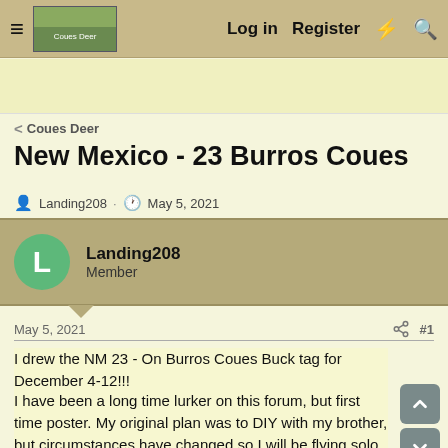≡  [logo]  Log in  Register  ⚡  🔍
< Coues Deer
New Mexico - 23 Burros Coues
Landing208 · May 5, 2021
Landing208
Member
May 5, 2021   #1
I drew the NM 23 - On Burros Coues Buck tag for December 4-12!!!
I have been a long time lurker on this forum, but first time poster. My original plan was to DIY with my brother, but circumstances have changed so I will be flying solo. I have already contacted Tommy (crazyaboutcoues) and will be